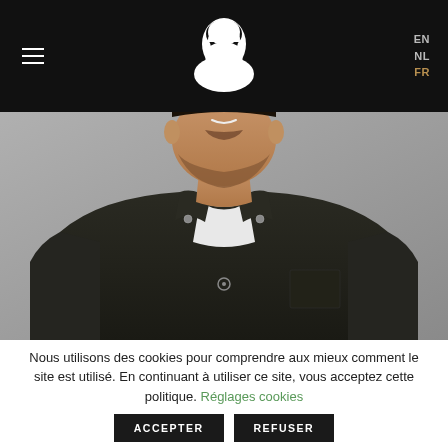EN NL FR
[Figure (photo): Man wearing a dark olive/charcoal mandarin-collar shirt with snap buttons, smiling, cropped at chest level, gray background]
Nous utilisons des cookies pour comprendre aux mieux comment le site est utilisé. En continuant à utiliser ce site, vous acceptez cette politique. Réglages cookies
ACCEPTER
REFUSER